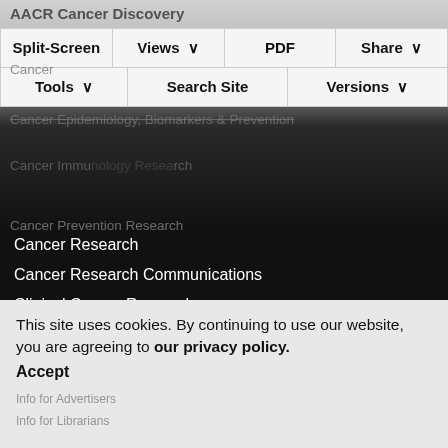AACR Cancer Discovery
Split-Screen | Views | PDF | Share
Cancer Epidemiology, Biomarkers & Prevention
Tools | Search Site | Versions
Cancer Immunology Research
Cancer Prevention Research
Cancer Research
Cancer Research Communications
Clinical Cancer Research
Molecular Cancer Research
Molecular Cancer Therapeutics
This site uses cookies. By continuing to use our website, you are agreeing to our privacy policy.
Accept